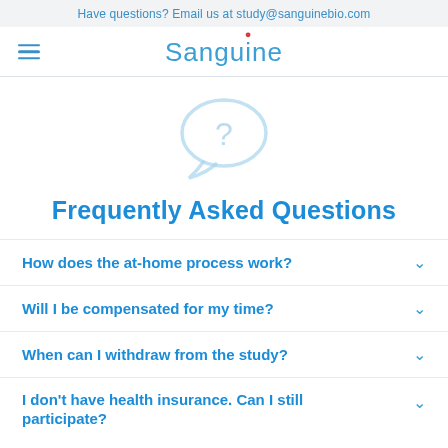Have questions? Email us at study@sanguinebio.com
[Figure (logo): Sanguine logo with hamburger menu icon on left, blue text 'Sanguine' with red blood drop above the 'i']
[Figure (illustration): Light blue speech bubble with question mark icon]
Frequently Asked Questions
How does the at-home process work?
Will I be compensated for my time?
When can I withdraw from the study?
I don't have health insurance. Can I still participate?